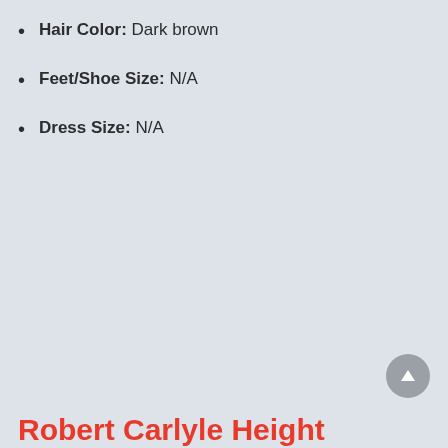Hair Color: Dark brown
Feet/Shoe Size: N/A
Dress Size: N/A
Robert Carlyle Height